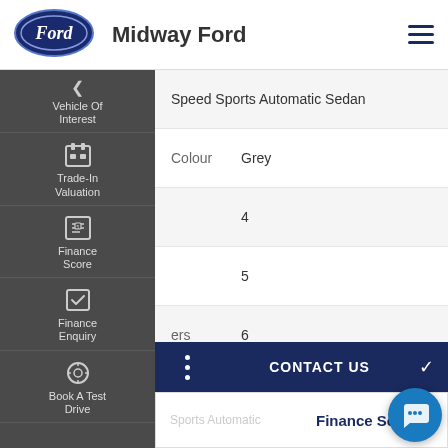[Figure (logo): Ford oval logo in dark navy blue with script Ford text, and dealer name Midway Ford]
Midway Ford
| Speed Sports Automatic Sedan |
| Colour | Grey |
|  | 4 |
|  | 5 |
| ers | 6 |
| ype | Petrol - Unleaded |
|  | 4 |
CONTACT US
Finance Score